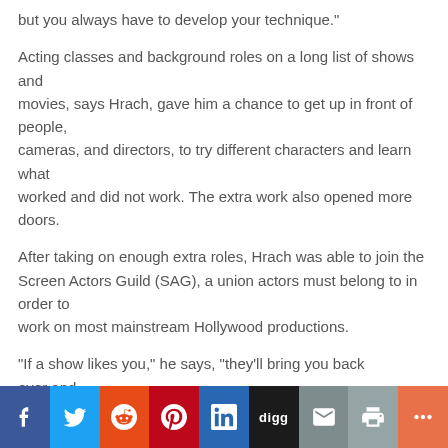but you always have to develop your technique."
Acting classes and background roles on a long list of shows and movies, says Hrach, gave him a chance to get up in front of people, cameras, and directors, to try different characters and learn what worked and did not work. The extra work also opened more doors.
After taking on enough extra roles, Hrach was able to join the Screen Actors Guild (SAG), a union actors must belong to in order to work on most mainstream Hollywood productions.
"If a show likes you," he says, "they'll bring you back over and